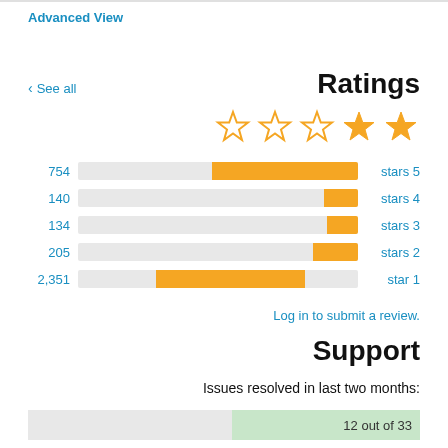Advanced View
< See all
Ratings
[Figure (other): Five stars rating display showing 2 filled gold stars and 3 outline stars]
[Figure (bar-chart): Ratings breakdown]
Log in to submit a review.
Support
Issues resolved in last two months:
12 out of 33